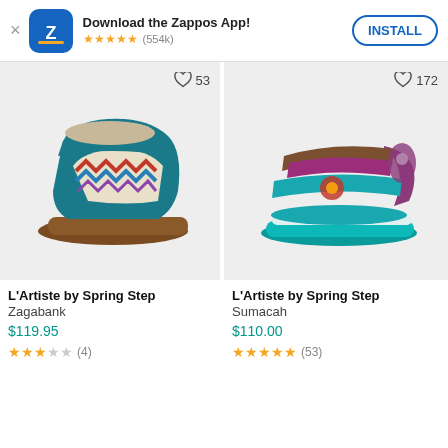Download the Zappos App! ★★★★★ (554k) INSTALL
[Figure (photo): L'Artiste by Spring Step Zagabank shoe - colorful patterned clog with teal leather and multi-color fabric. Wishlist count: 53]
[Figure (photo): L'Artiste by Spring Step Sumacah sandal - teal and purple multi-strap sandal with floral detail. Wishlist count: 172]
L'Artiste by Spring Step
Zagabank
$119.95
★★★☆☆ (4)
L'Artiste by Spring Step
Sumacah
$110.00
★★★★★ (53)